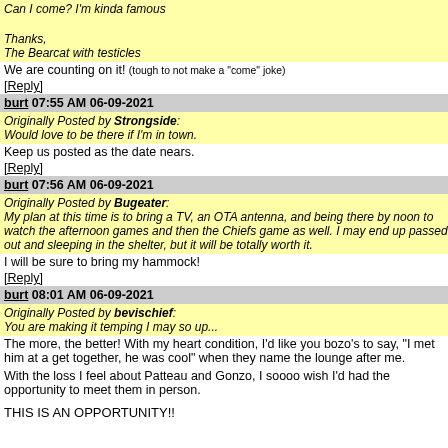Can I come? I'm kinda famous
Thanks,
The Bearcat with testicles
We are counting on it! (tough to not make a "come" joke)
[Reply]
burt 07:55 AM 06-09-2021
Originally Posted by Strongside:
Would love to be there if I'm in town.
Keep us posted as the date nears.
[Reply]
burt 07:56 AM 06-09-2021
Originally Posted by Bugeater:
My plan at this time is to bring a TV, an OTA antenna, and being there by noon to watch the afternoon games and then the Chiefs game as well. I may end up passed out and sleeping in the shelter, but it will be totally worth it.
I will be sure to bring my hammock!
[Reply]
burt 08:01 AM 06-09-2021
Originally Posted by bevischief:
You are making it temping I may so up...
The more, the better! With my heart condition, I'd like you bozo's to say, "I met him at a get together, he was cool" when they name the lounge after me.
With the loss I feel about Patteau and Gonzo, I soooo wish I'd had the opportunity to meet them in person.
THIS IS AN OPPORTUNITY!!